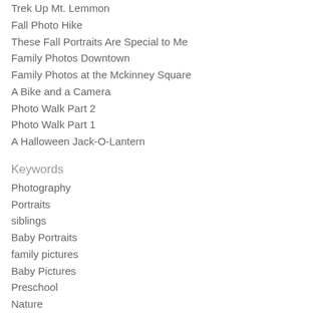Trek Up Mt. Lemmon
Fall Photo Hike
These Fall Portraits Are Special to Me
Family Photos Downtown
Family Photos at the Mckinney Square
A Bike and a Camera
Photo Walk Part 2
Photo Walk Part 1
A Halloween Jack-O-Lantern
Keywords
Photography
Portraits
siblings
Baby Portraits
family pictures
Baby Pictures
Preschool
Nature
kids
friends